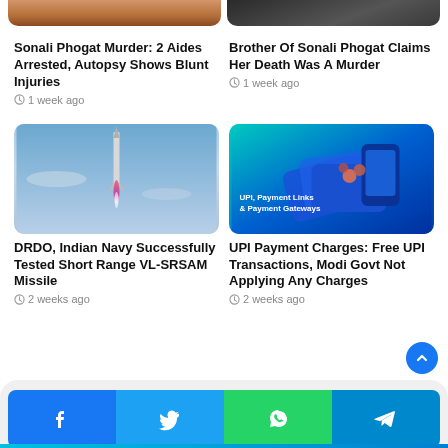[Figure (photo): Partial top of food/seafood image cropped at top left]
[Figure (photo): Partial top of a person image cropped at top right]
Sonali Phogat Murder: 2 Aides Arrested, Autopsy Shows Blunt Injuries
1 week ago
Brother Of Sonali Phogat Claims Her Death Was A Murder
1 week ago
[Figure (photo): Missile launching into blue sky with pink/white flame trail]
[Figure (photo): Blue gradient digital payment graphic with UPI, Payment Links & Payment Gateways text and card/phone icons]
DRDO, Indian Navy Successfully Tested Short Range VL-SRSAM Missile
2 weeks ago
UPI Payment Charges: Free UPI Transactions, Modi Govt Not Applying Any Charges
2 weeks ago
[Figure (infographic): Social share bar with Facebook, Twitter, WhatsApp, Telegram buttons]